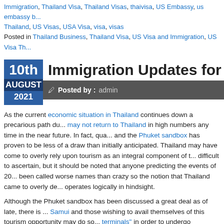Immigration, Thailand Visa, Thailand Visas, thaivisa, US Embassy, us embassy b... Thailand, US Visas, USA Visa, visa, visas
Posted in Thailand Business, Thailand Visa, US Visa and Immigration, US Visa Th...
Immigration Updates for Thaila...
10th AUGUST 2021
Posted by : admin
As the current economic situation in Thailand continues down a precarious path du... may not return to Thailand in high numbers any time in the near future. In fact, qua... and the Phuket sandbox has proven to be less of a draw than initially anticipated. Thailand may have come to overly rely upon tourism as an integral component of t... difficult to ascertain, but it should be noted that anyone predicting the events of 20... been called worse names than crazy so the notion that Thailand came to overly de... operates logically in hindsight.
Although the Phuket sandbox has been discussed a great deal as of late, there is ... Samui and those wishing to avail themselves of this tourism opportunity may do so... terminals" in order to undergo "sandbox quarantine" for 14 days on that island. Pre... precluded wide travel latitude for those wishing to leave the Phuket sandbox, but t... Samui system. Those wishing to travel to Bangkok from abroad may do so, but the... Bangkok hotel via the Alternative State Quarantine system.
Business travelers to Thailand are not precluded from using either the Samui or Ph... visa and/or Thai work permit may return to Thailand without undue hardship. It...